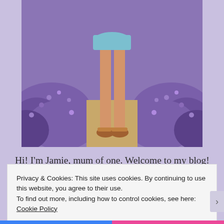[Figure (photo): A person's legs and feet in sandals standing in a lavender field with purple blooms on both sides]
Hi! I'm Jamie, mum of one. Welcome to my blog! I have been fumbling my way through motherhood since 2016 and documenting my journey! I am a hypnobirthing, breastfeeding, PND recovering, endometriosis suffering, rainbow baby, no-judgement mama just trying to keep my
Privacy & Cookies: This site uses cookies. By continuing to use this website, you agree to their use.
To find out more, including how to control cookies, see here: Cookie Policy
Close and accept